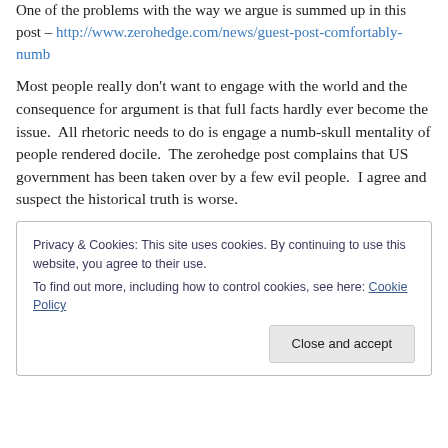One of the problems with the way we argue is summed up in this post – http://www.zerohedge.com/news/guest-post-comfortably-numb
Most people really don't want to engage with the world and the consequence for argument is that full facts hardly ever become the issue.  All rhetoric needs to do is engage a numb-skull mentality of people rendered docile.  The zerohedge post complains that US government has been taken over by a few evil people.  I agree and suspect the historical truth is worse.
Privacy & Cookies: This site uses cookies. By continuing to use this website, you agree to their use. To find out more, including how to control cookies, see here: Cookie Policy